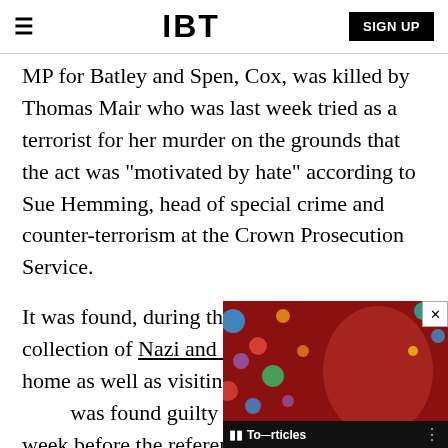IBT | SIGN UP
MP for Batley and Spen, Cox, was killed by Thomas Mair who was last week tried as a terrorist for her murder on the grounds that the act was "motivated by hate" according to Sue Hemming, head of special crime and counter-terrorism at the Crown Prosecution Service.
It was found, during the tria[l, that he had a] collection of Nazi and far-r[ight material at his] home as well as visiting far[right websites. Mair] was found guilty of Cox's m[urder one] week before the referendum on the UK's membership of the EU and sentenced to prison for